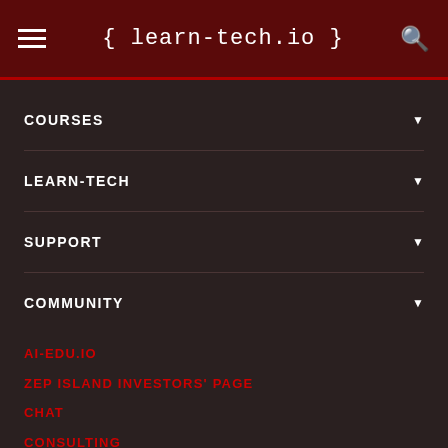{ learn-tech.io }
COURSES
LEARN-TECH
SUPPORT
COMMUNITY
AI-EDU.IO
ZEP ISLAND INVESTORS' PAGE
CHAT
CONSULTING
COOKIES
COURSES